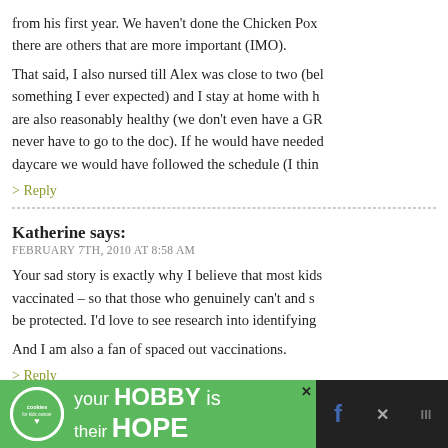from his first year. We haven't done the Chicken Pox there are others that are more important (IMO).
That said, I also nursed till Alex was close to two (something I ever expected) and I stay at home with h are also reasonably healthy (we don't even have a GR never have to go to the doc). If he would have needed daycare we would have followed the schedule (I thin
> Reply
Katherine says:
FEBRUARY 7TH, 2010 AT 8:58 AM
Your sad story is exactly why I believe that most kids vaccinated – so that those who genuinely can't and s be protected. I'd love to see research into identifying
And I am also a fan of spaced out vaccinations.
> Reply
blairzoo says:
[Figure (screenshot): Advertisement banner at bottom of page: green background with 'cookies for kids cancer' logo, text reading 'your HOBBY is their HOPE', close button, dark background with social media icons]